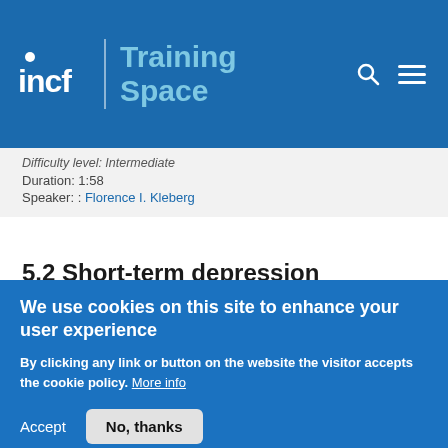incf | Training Space
Difficulty level: Intermediate
Duration: 1:58
Speaker: : Florence I. Kleberg
5.2 Short-term depression
Course:
Computational Modeling of
[Figure (screenshot): Chalkboard with text '2 Short-Term Depression, dyks & Markram, pre synaptic' and a synapse diagram, with a person's face partially visible on the right]
We use cookies on this site to enhance your user experience
By clicking any link or button on the website the visitor accepts the cookie policy. More info
Accept
No, thanks